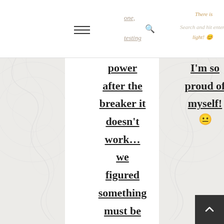one, testing | There is light! 😊 | Search and hit enter…
power after the breaker it doesn't work… we figured something must be wrong with the breaker, turned out there is something wrong
I'm so proud of myself! 😐